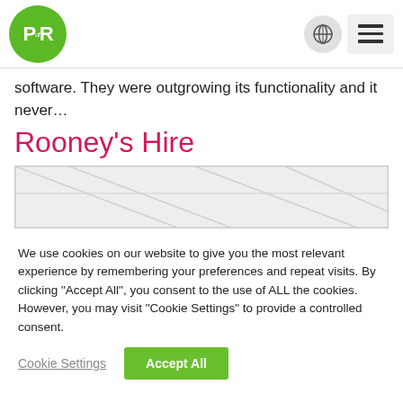PofR logo with globe and menu icons
software. They were outgrowing its functionality and it never...
Rooney's Hire
[Figure (photo): Light-colored ceiling tiles or panels, abstract overhead view]
We use cookies on our website to give you the most relevant experience by remembering your preferences and repeat visits. By clicking "Accept All", you consent to the use of ALL the cookies. However, you may visit "Cookie Settings" to provide a controlled consent.
Cookie Settings   Accept All